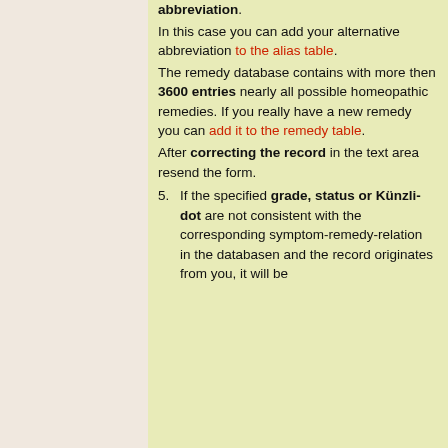abbreviation. In this case you can add your alternative abbreviation to the alias table. The remedy database contains with more then 3600 entries nearly all possible homeopathic remedies. If you really have a new remedy you can add it to the remedy table. After correcting the record in the text area resend the form.
5. If the specified grade, status or Künzli-dot are not consistent with the corresponding symptom-remedy-relation in the databasen and the record originates from you, it will be